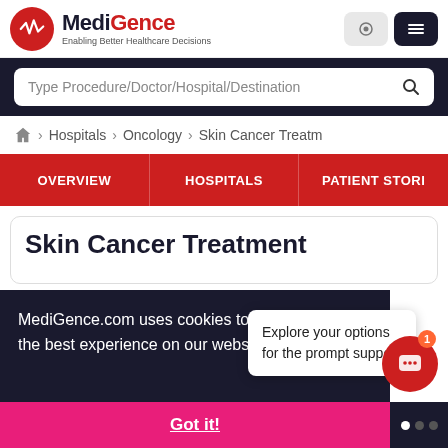MediGence - Enabling Better Healthcare Decisions
Type Procedure/Doctor/Hospital/Destination
Hospitals > Oncology > Skin Cancer Treatment
OVERVIEW  HOSPITALS  PATIENT STORIES
Skin Cancer Treatment
MediGence.com uses cookies to ensure you get the best experience on our website. Vi...
Explore your options for the prompt support
Got it!